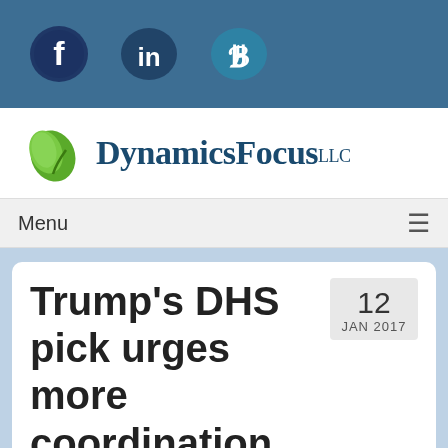[Figure (logo): Social media icons bar: Facebook (f), LinkedIn (in), Twitter/B logo on blue background]
[Figure (logo): DynamicsFocus LLC logo with green leaf icon and serif text]
Menu
Trump's DHS pick urges more coordination on cyberthreats
12 JAN 2017